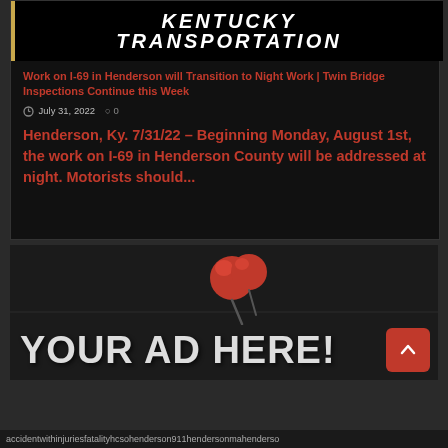[Figure (logo): Kentucky Transportation Cabinet banner/logo with bold white italic text on black background]
Work on I-69 in Henderson will Transition to Night Work | Twin Bridge Inspections Continue this Week
July 31, 2022  0
Henderson, Ky. 7/31/22 – Beginning Monday, August 1st, the work on I-69 in Henderson County will be addressed at night. Motorists should...
[Figure (infographic): Advertisement placeholder image with red push pin at top and large bold text YOUR AD HERE! on dark textured background]
accidentwithinjuriesfatalityhcsohenderson911hendersonmahenderso